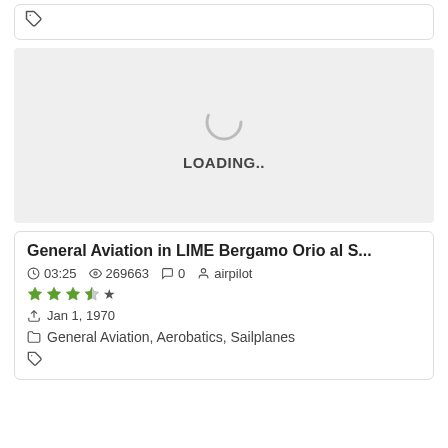[Figure (other): Tag icon in top card]
[Figure (other): Loading spinner with LOADING.. text on grey background]
General Aviation in LIME Bergamo Orio al S...
03:25  269663  0  airpilot
[Figure (other): Star rating: 3 stars and 1 half star]
Jan 1, 1970
General Aviation, Aerobatics, Sailplanes
[Figure (other): Tag icon in bottom card]